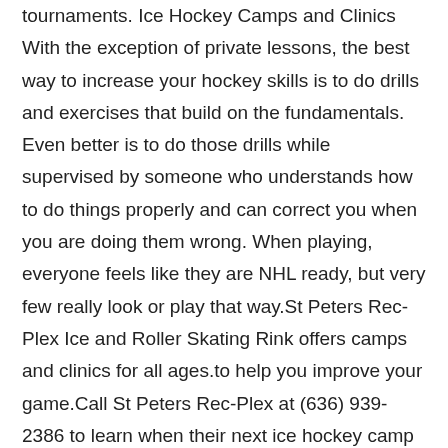tournaments. Ice Hockey Camps and Clinics With the exception of private lessons, the best way to increase your hockey skills is to do drills and exercises that build on the fundamentals. Even better is to do those drills while supervised by someone who understands how to do things properly and can correct you when you are doing them wrong. When playing, everyone feels like they are NHL ready, but very few really look or play that way.St Peters Rec-Plex Ice and Roller Skating Rink offers camps and clinics for all ages.to help you improve your game.Call St Peters Rec-Plex at (636) 939-2386 to learn when their next ice hockey camp or clinic is being held. Pickup Hockey